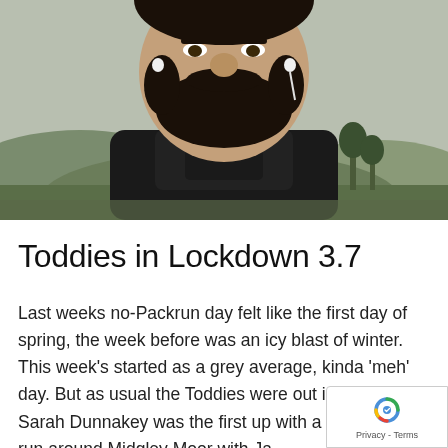[Figure (photo): Close-up outdoor selfie of a bearded man wearing a black high-neck athletic top with earbuds, standing in front of a green hillside landscape on an overcast day.]
Toddies in Lockdown 3.7
Last weeks no-Packrun day felt like the first day of spring, the week before was an icy blast of winter. This week's started as a grey average, kinda 'meh' day. But as usual the Toddies were out in force. Sarah Dunnakey was the first up with a pre-breakfast run around Midgley Moor with Jan Fit...